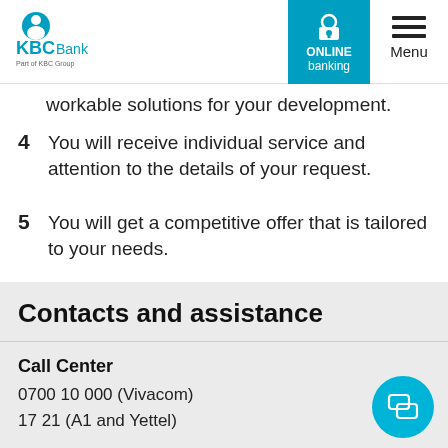KBC Bank | ONLINE banking | Menu
workable solutions for your development.
4  You will receive individual service and attention to the details of your request.
5  You will get a competitive offer that is tailored to your needs.
Contacts and assistance
Call Center
0700 10 000 (Vivacom)
17 21 (A1 and Yettel)